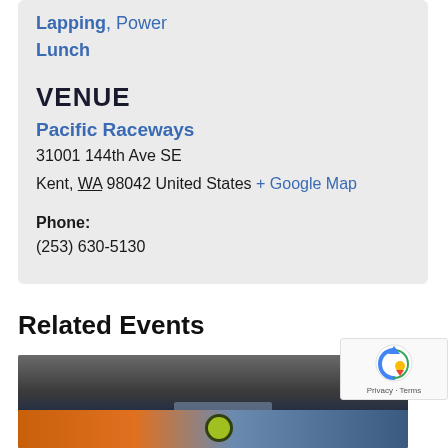Lapping, Power Lunch
VENUE
Pacific Raceways
31001 144th Ave SE
Kent, WA 98042 United States + Google Map
Phone:
(253) 630-5130
Related Events
[Figure (photo): Photo of a racing car on track, showing roof and windshield area with an orange and blue color scheme, with a circular marker visible]